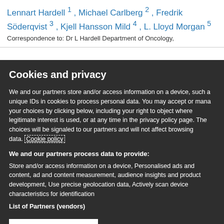Lennart Hardell 1 , Michael Carlberg 2 , Fredrik Söderqvist 3 , Kjell Hansson Mild 4 , L. Lloyd Morgan 5
Correspondence to: Dr L Hardell Department of Oncology,
Cookies and privacy
We and our partners store and/or access information on a device, such as unique IDs in cookies to process personal data. You may accept or manage your choices by clicking below, including your right to object where legitimate interest is used, or at any time in the privacy policy page. These choices will be signaled to our partners and will not affect browsing data. Cookie policy
We and our partners process data to provide:
Store and/or access information on a device, Personalised ads and content, ad and content measurement, audience insights and product development, Use precise geolocation data, Actively scan device characteristics for identification
List of Partners (vendors)
I Accept